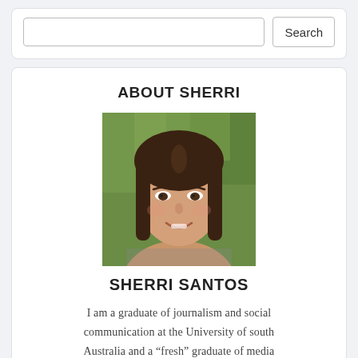[Figure (other): Search bar UI with text input field and a Search button]
ABOUT SHERRI
[Figure (photo): Portrait photo of a young woman with long dark hair, smiling, with a blurred green outdoor background]
SHERRI SANTOS
I am a graduate of journalism and social communication at the University of south Australia and a "fresh" graduate of media